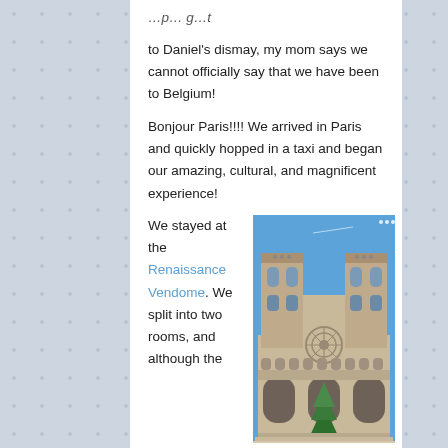to Daniel's dismay, my mom says we cannot officially say that we have been to Belgium!
Bonjour Paris!!!! We arrived in Paris and quickly hopped in a taxi and began our amazing, cultural, and magnificent experience!
We stayed at the Renaissance Vendome. We split into two rooms, and although the
[Figure (photo): Photograph of Notre-Dame Cathedral in Paris with blue sky background and a Christmas tree visible at the base]